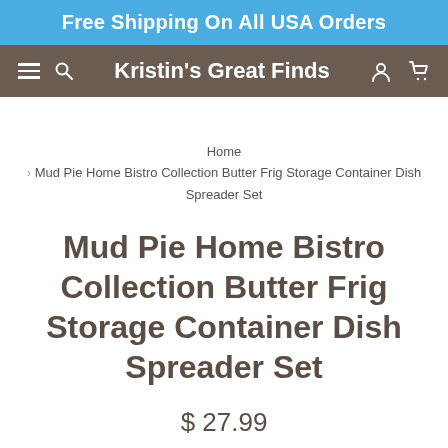Free Shipping On All USA Orders
Kristin's Great Finds
Home > Mud Pie Home Bistro Collection Butter Frig Storage Container Dish Spreader Set
Mud Pie Home Bistro Collection Butter Frig Storage Container Dish Spreader Set
$ 27.99